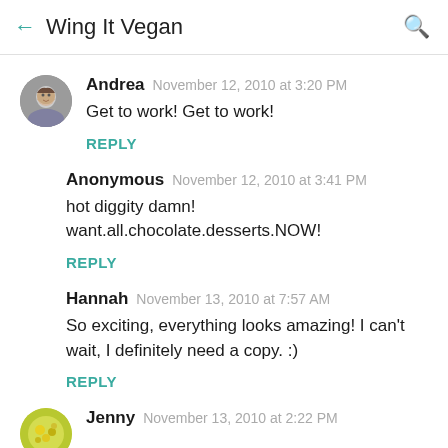Wing It Vegan
Andrea  November 12, 2010 at 3:20 PM
Get to work! Get to work!
REPLY
Anonymous  November 12, 2010 at 3:41 PM
hot diggity damn!
want.all.chocolate.desserts.NOW!
REPLY
Hannah  November 13, 2010 at 7:57 AM
So exciting, everything looks amazing! I can't wait, I definitely need a copy. :)
REPLY
Jenny  November 13, 2010 at 2:22 PM